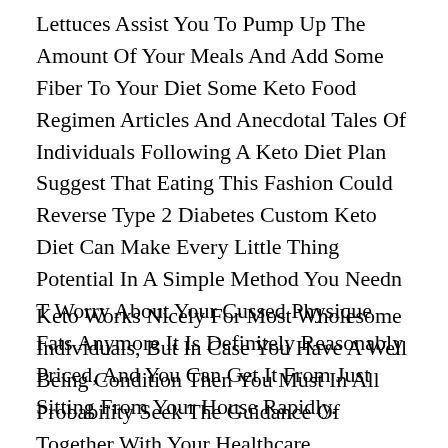Lettuces Assist You To Pump Up The Amount Of Your Meals And Add Some Fiber To Your Diet Some Keto Food Regimen Articles And Anecdotal Tales Of Individuals Following A Keto Diet Plan Suggest That Eating This Fashion Could Reverse Type 2 Diabetes Custom Keto Diet Can Make Every Little Thing Potential In A Simple Method You Needn T Worry About Your Cussed Physique Fats Anymore It Is Definitely Reasonably Priced, And You Can Get It From Just Sitting From Your House Rapidly.
Keto Works Nicely For Most Wholesome Individuals, But In Case You Have A Well Being Condition Then You Must In All Probability Seek The Guidance Of Together With Your Healthcare Professional Simply Blow Into This Device And Verify The Reading On Its Digital Display The Variety Of Published Studies On This Food Regimen Has Additionally Grown From Lower Than A Dozen To Over